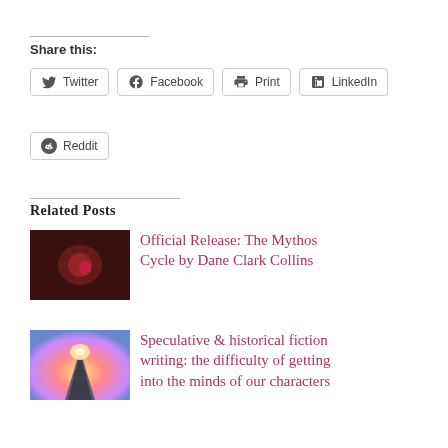Share this:
Twitter
Facebook
Print
LinkedIn
Reddit
Related Posts
Official Release: The Mythos Cycle by Dane Clark Collins
Speculative & historical fiction writing: the difficulty of getting into the minds of our characters